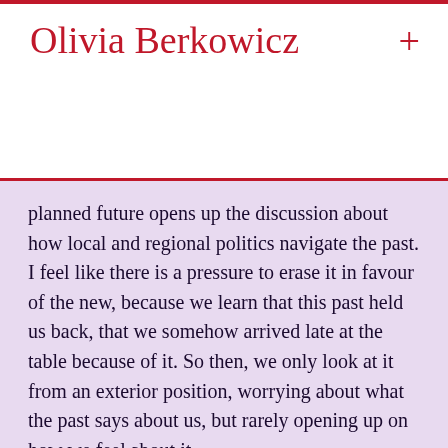Olivia Berkowicz
planned future opens up the discussion about how local and regional politics navigate the past. I feel like there is a pressure to erase it in favour of the new, because we learn that this past held us back, that we somehow arrived late at the table because of it. So then, we only look at it from an exterior position, worrying about what the past says about us, but rarely opening up on how we feel about it.
OB: Do you think that the West still finds value in reifying the notion of the former Eastern Bloc as a problem? In this